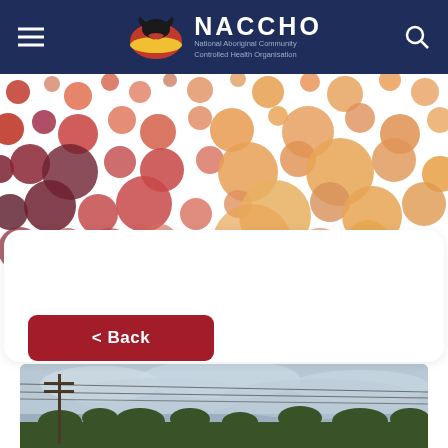NACCHO – National Aboriginal Community Controlled Health Organisation
[Figure (illustration): Decorative dot pattern banner with circles in red, orange, dark red, and salmon colors on white background]
[Figure (photo): Outdoor landscape photo showing power lines, trees, and cloudy sky]
< Back